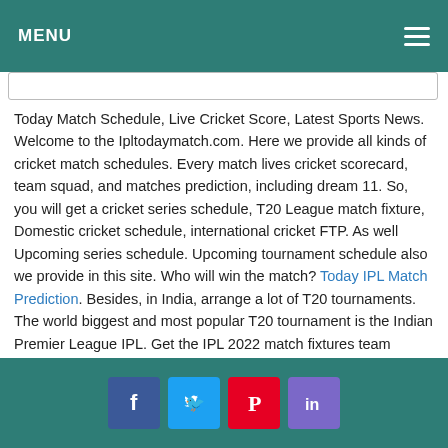MENU
Today Match Schedule, Live Cricket Score, Latest Sports News. Welcome to the Ipltodaymatch.com. Here we provide all kinds of cricket match schedules. Every match lives cricket scorecard, team squad, and matches prediction, including dream 11. So, you will get a cricket series schedule, T20 League match fixture, Domestic cricket schedule, international cricket FTP. As well Upcoming series schedule. Upcoming tournament schedule also we provide in this site. Who will win the match? Today IPL Match Prediction. Besides, in India, arrange a lot of T20 tournaments. The world biggest and most popular T20 tournament is the Indian Premier League IPL. Get the IPL 2022 match fixtures team squad. Also, there are playing from a few years like T20 Mumbai League 2022. Also, Karnataka Premier League 2022 schedule, Tamil Nadu Premier League 2022 match fixture
Social share buttons: Facebook, Twitter, Pinterest, LinkedIn